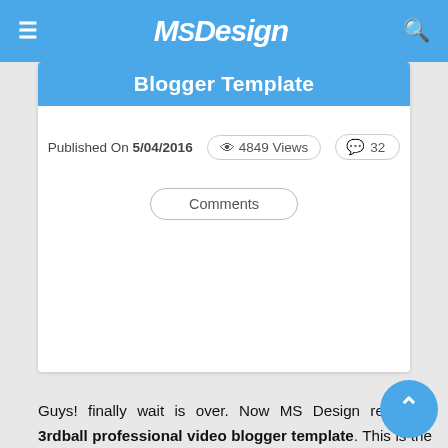MSDesign
Blogger Template
Published On 5/04/2016   4849 Views   32 Comments
Guys! finally wait is over. Now MS Design releasing 3rdball professional video blogger template. This is the update version of 3rdbell blogger template. This template bring some awesome features for you video blog, that you're running on blogspot. 3rdball is a professional video blogger template that makes for all video makers. If you have any video blog on blogspot, then 3rdball is perfect for your